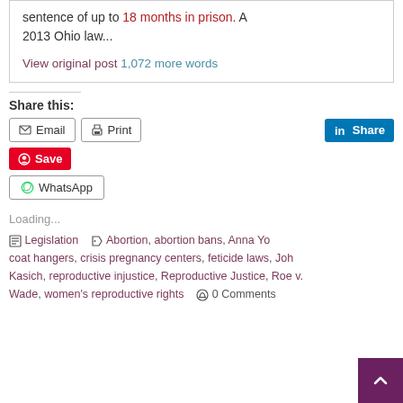sentence of up to 18 months in prison. A 2013 Ohio law...
View original post 1,072 more words
Share this:
Email   Print   Share
Save
WhatsApp
Loading...
Legislation   Abortion, abortion bans, Anna Yo... coat hangers, crisis pregnancy centers, feticide laws, Joh... Kasich, reproductive injustice, Reproductive Justice, Roe v. Wade, women's reproductive rights   0 Comments